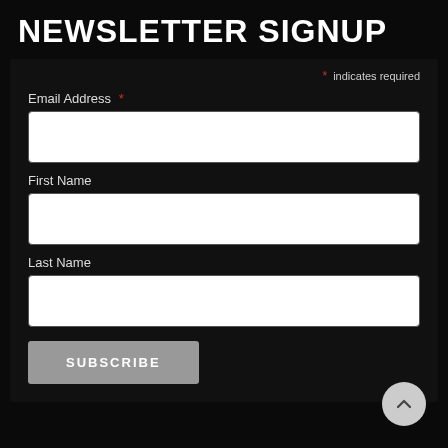NEWSLETTER SIGNUP
* indicates required
Email Address *
First Name
Last Name
SUBSCRIBE